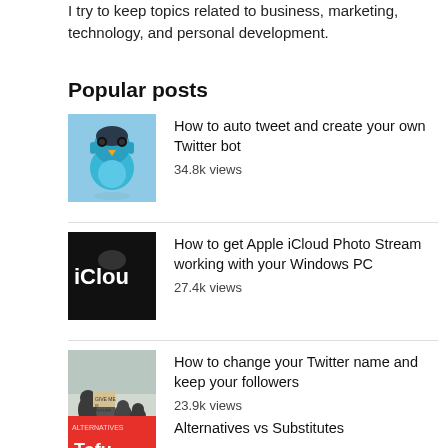I try to keep topics related to business, marketing, technology, and personal development.
Popular posts
How to auto tweet and create your own Twitter bot — 34.8k views
How to get Apple iCloud Photo Stream working with your Windows PC — 27.4k views
How to change your Twitter name and keep your followers — 23.9k views
Alternatives vs Substitutes